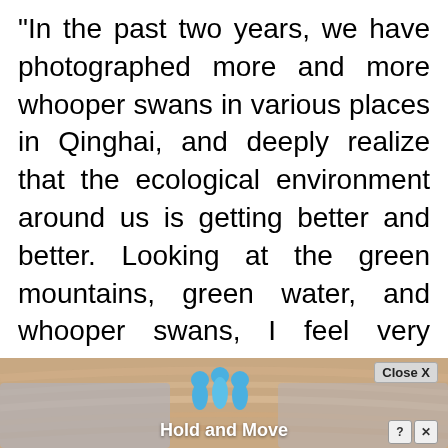"In the past two years, we have photographed more and more whooper swans in various places in Qinghai, and deeply realize that the ecological environment around us is getting better and better. Looking at the green mountains, green water, and whooper swans, I feel very comfortable!" Located in Sanjiangzhi Qinghai is one of the regions with the highest concentration of species and genetic diversity at high altitudes in the world.
With the continuous strengthening of ecological protection in Qinghai Province, the population of wild animals such as Tibetan antelo... has
[Figure (other): Advertisement overlay at bottom of page with cartoon figures and 'Hold and Move' label, partially obscuring text. Close X button visible top right of ad.]